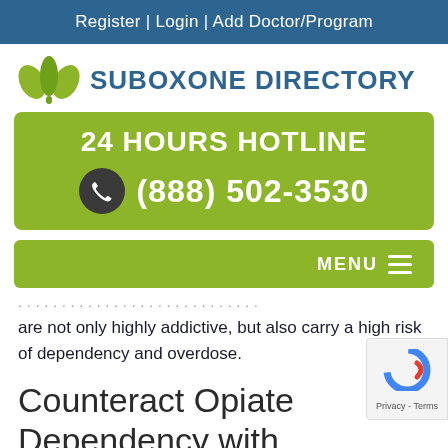Register | Login | Add Doctor/Program
[Figure (logo): Green leaf/lotus logo with text SUBOXONE DIRECTORY in dark blue]
[Figure (infographic): Green box: 24 HOURS HOTLINE with phone icon and number (888) 502-3530]
[Figure (infographic): Green MENU bar with hamburger icon]
are not only highly addictive, but also carry a high risk of dependency and overdose.
Counteract Opiate Dependency with